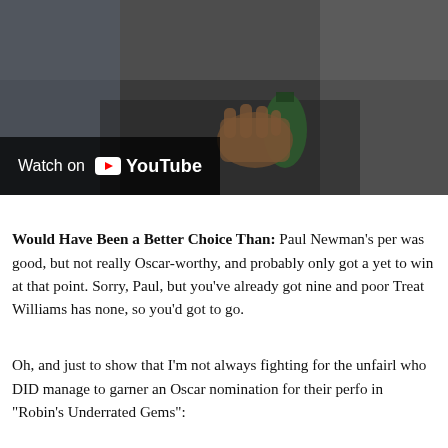[Figure (screenshot): A YouTube embedded video thumbnail showing a dark scene with a hand holding a green bottle, with a 'Watch on YouTube' overlay button in the lower left.]
Would Have Been a Better Choice Than: Paul Newman's per was good, but not really Oscar-worthy, and probably only got a yet to win at that point. Sorry, Paul, but you've already got nine and poor Treat Williams has none, so you'd got to go.
Oh, and just to show that I'm not always fighting for the unfairl who DID manage to garner an Oscar nomination for their perfo in "Robin's Underrated Gems":